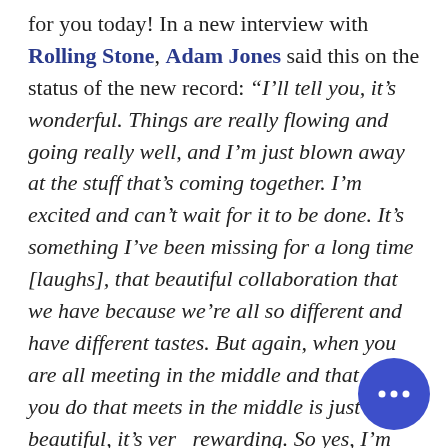for you today! In a new interview with Rolling Stone, Adam Jones said this on the status of the new record: “I’ll tell you, it’s wonderful. Things are really flowing and going really well, and I’m just blown away at the stuff that’s coming together. I’m excited and can’t wait for it to be done. It’s something I’ve been missing for a long time [laughs], that beautiful collaboration that we have because we’re all so different and have different tastes. But again, when you are all meeting in the middle and that thing you do that meets in the middle is just beautiful, it’s very rewarding. So yes, I’m very happy. We prob have 20 potential song ideas now. Of course, 20